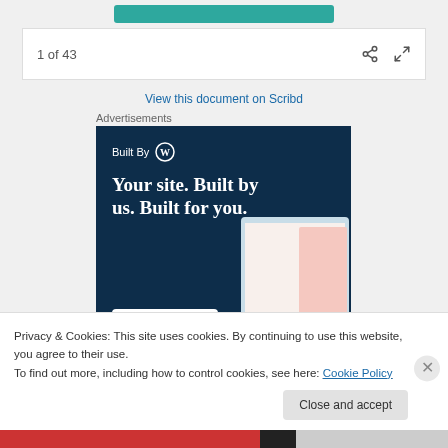[Figure (screenshot): Green button at top of Scribd page]
1 of 43
View this document on Scribd
Advertisements
[Figure (illustration): WordPress advertisement: Built By WP logo, headline 'Your site. Built by us. Built for you.' with Get a quote now button and website mockup images on dark navy background]
Privacy & Cookies: This site uses cookies. By continuing to use this website, you agree to their use.
To find out more, including how to control cookies, see here: Cookie Policy
Close and accept